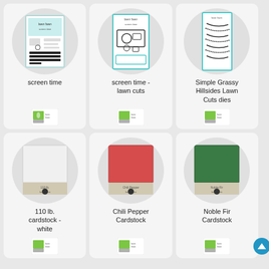[Figure (screenshot): Product grid showing 6 craft/stamping products in a 3x2 layout with circular product images on grey backgrounds and product names below]
screen time
screen time - lawn cuts
Simple Grassy Hillsides Lawn Cuts dies
110 lb. cardstock - white
Chili Pepper Cardstock
Noble Fir Cardstock